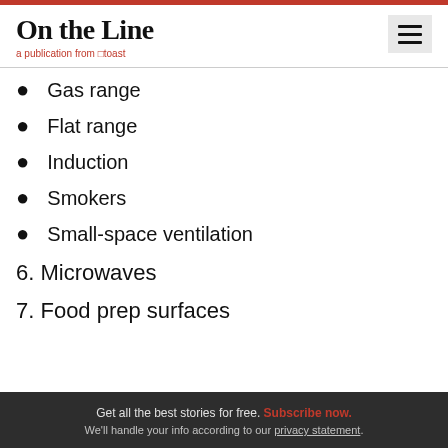On the Line — a publication from Toast
Gas range
Flat range
Induction
Smokers
Small-space ventilation
6. Microwaves
7. Food prep surfaces
Get all the best stories for free. Subscribe now. We'll handle your info according to our privacy statement.